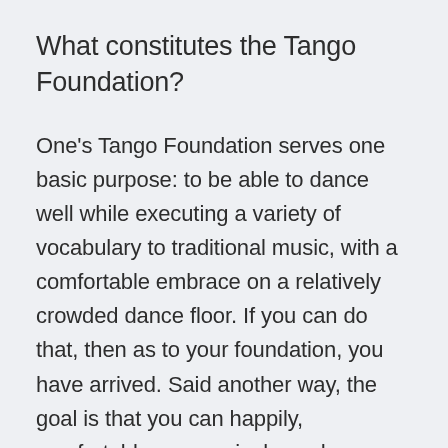What constitutes the Tango Foundation?
One's Tango Foundation serves one basic purpose: to be able to dance well while executing a variety of vocabulary to traditional music, with a comfortable embrace on a relatively crowded dance floor. If you can do that, then as to your foundation, you have arrived. Said another way, the goal is that you can happily, comfortably, expressively, and competently dance tango with other competent dancers in a traditional tango environment.
Breaking this down further, a tango student's foundation includes the following elements: the tango lead